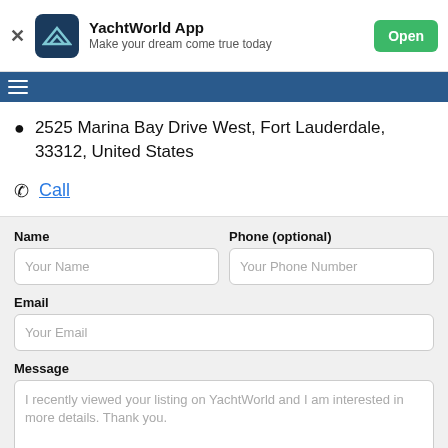[Figure (screenshot): YachtWorld App banner with logo, tagline 'Make your dream come true today', and 'Open' button]
2525 Marina Bay Drive West, Fort Lauderdale, 33312, United States
Call
Name
Your Name
Phone (optional)
Your Phone Number
Email
Your Email
Message
I recently viewed your listing on YachtWorld and I am interested in more details. Thank you.
Contact Broker